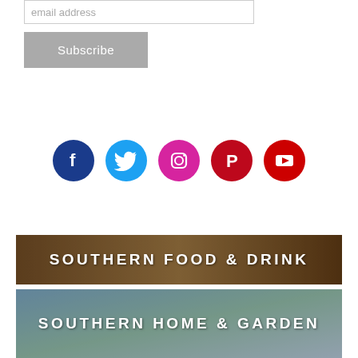email address
Subscribe
[Figure (infographic): Five social media icon circles: Facebook (dark blue), Twitter (light blue), Instagram (pink/magenta), Pinterest (dark red), YouTube (red)]
[Figure (photo): Banner image with food and drinks on a table, overlaid with text SOUTHERN FOOD & DRINK in white uppercase letters]
[Figure (photo): Banner image with a southern home/garden scene under blue sky, overlaid with text SOUTHERN HOME & GARDEN in white uppercase letters]